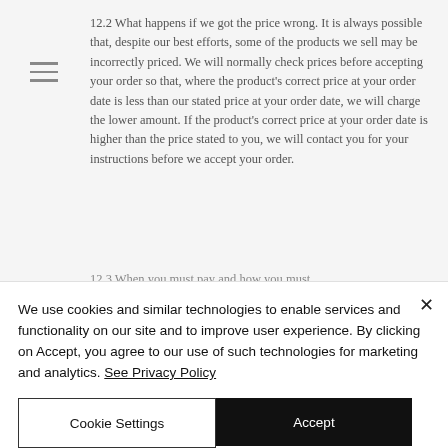12.2 What happens if we got the price wrong. It is always possible that, despite our best efforts, some of the products we sell may be incorrectly priced. We will normally check prices before accepting your order so that, where the product's correct price at your order date is less than our stated price at your order date, we will charge the lower amount. If the product's correct price at your order date is higher than the price stated to you, we will contact you for your instructions before we accept your order.
12.3 When you must pay and how you must
We use cookies and similar technologies to enable services and functionality on our site and to improve user experience. By clicking on Accept, you agree to our use of such technologies for marketing and analytics. See Privacy Policy